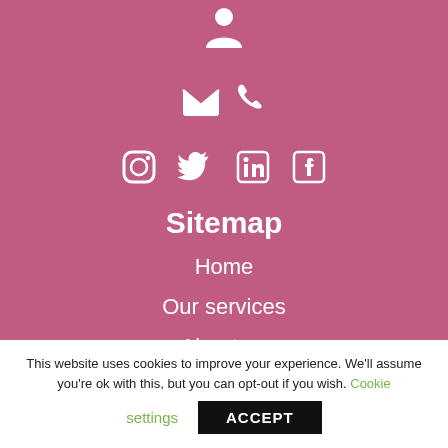[Figure (illustration): White person/user icon on pink background]
[Figure (illustration): White email envelope and phone icons on pink background]
[Figure (illustration): White Instagram, Twitter, LinkedIn, and Facebook icons on pink background]
Sitemap
Home
Our services
About us
This website uses cookies to improve your experience. We'll assume you're ok with this, but you can opt-out if you wish. Cookie settings ACCEPT